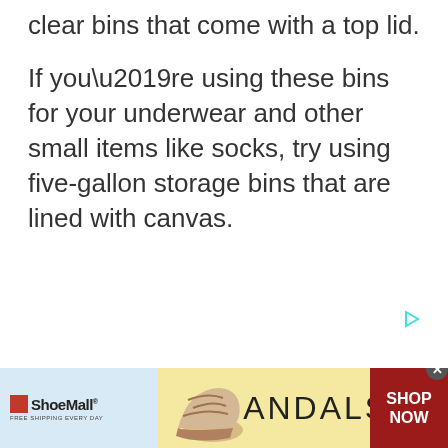clear bins that come with a top lid.
If you’re using these bins for your underwear and other small items like socks, try using five-gallon storage bins that are lined with canvas.
[Figure (other): Small cyan play/ad icon triangle arrow]
[Figure (other): ShoeMall advertisement banner showing sandals with SHOP NOW button]